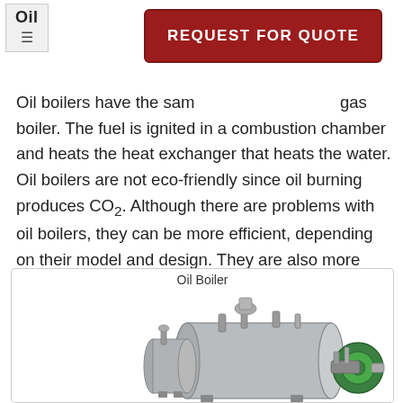Oil
[Figure (other): REQUEST FOR QUOTE button / navigation element]
Oil boilers have the same components as a gas boiler. The fuel is ignited in a combustion chamber and heats the heat exchanger that heats the water. Oil boilers are not eco-friendly since oil burning produces CO2. Although there are problems with oil boilers, they can be more efficient, depending on their model and design. They are also more expensive to operate because of the changing prices of crude oil.
[Figure (photo): Oil Boiler — photograph of an industrial oil boiler unit, grey cylindrical vessel with green motor attachment and various pipes and valves on top.]
Oil Boiler